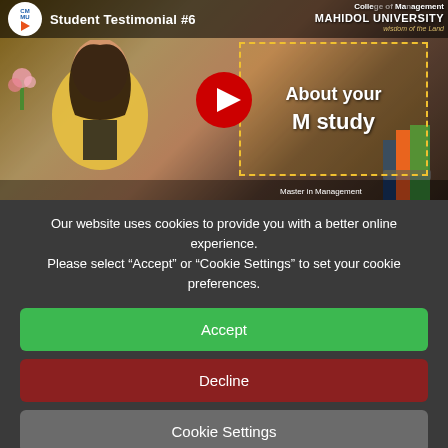[Figure (screenshot): YouTube video thumbnail for 'Student Testimonial #6' from CMMU (College of Management Mahidol University). Shows a woman in a yellow blazer seated at a desk, with a yellow dashed box reading 'About your M study' and a YouTube play button in the center.]
Our website uses cookies to provide you with a better online experience. Please select “Accept” or “Cookie Settings” to set your cookie preferences.
Accept
Decline
Cookie Settings
More Info